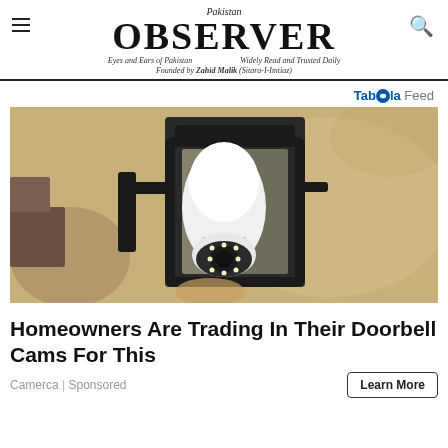Pakistan OBSERVER — Eyes and Ears of Pakistan | Widely Read and Trusted Daily | Founded by Zahid Malik (Sitara-I-Imtiaz)
Taboola Feed
[Figure (photo): Close-up photo of a security camera shaped like a light bulb, installed inside a black lantern-style outdoor light fixture mounted on a textured cream/beige stucco wall. The camera has a white dome body with a circular lens array at the bottom.]
Homeowners Are Trading In Their Doorbell Cams For This
Camerca | Sponsored
Learn More